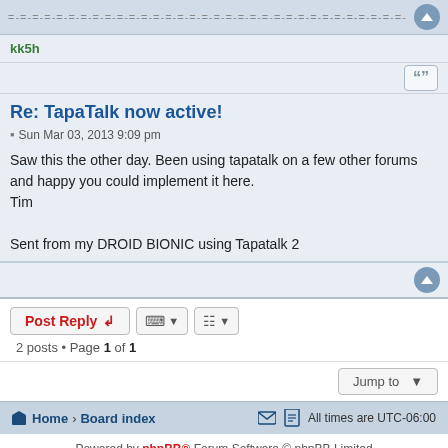= - = - = - = - = - = - = - = - = - = - = - = - = - = - = - = - = - = - = - = - = -
kk5h
Re: TapaTalk now active!
Sun Mar 03, 2013 9:09 pm
Saw this the other day. Been using tapatalk on a few other forums and happy you could implement it here.
Tim

Sent from my DROID BIONIC using Tapatalk 2
2 posts • Page 1 of 1
Home › Board index   All times are UTC-06:00
Powered by phpBB® Forum Software © phpBB Limited
Privacy | Terms